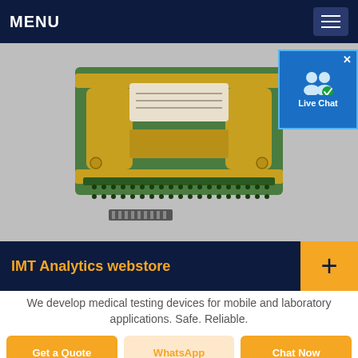MENU
[Figure (photo): Close-up photo of a green PCB (printed circuit board) with a gold-colored sensor/chip mounted on top, featuring connection pins along the bottom edge, photographed on a light gray surface.]
[Figure (screenshot): Live Chat widget overlay in top-right corner with blue background, two user icons, checkmark icon, and 'Live Chat' text label with an X close button.]
IMT Analytics webstore
We develop medical testing devices for mobile and laboratory applications. Safe. Reliable.
Get a Quote | WhatsApp | Chat Now